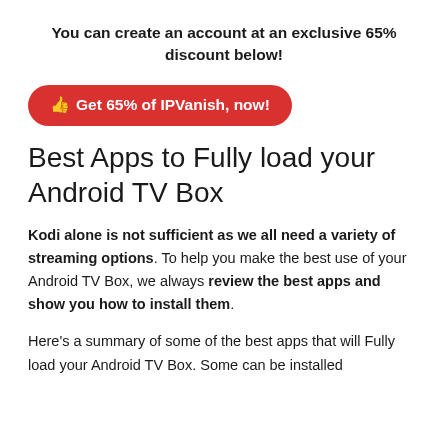You can create an account at an exclusive 65% discount below!
[Figure (other): Red rounded button with thumbs up icon reading: Get 65% of IPVanish, now!]
Best Apps to Fully load your Android TV Box
Kodi alone is not sufficient as we all need a variety of streaming options. To help you make the best use of your Android TV Box, we always review the best apps and show you how to install them.
Here’s a summary of some of the best apps that will Fully load your Android TV Box. Some can be installed